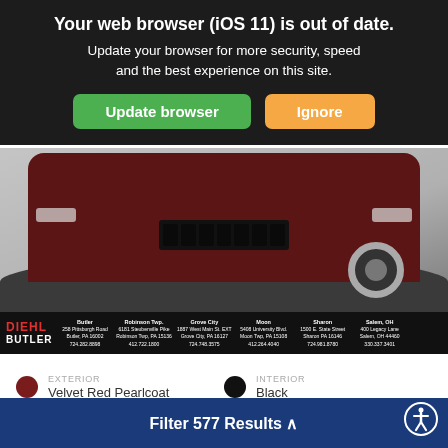[Figure (screenshot): Browser update warning banner overlay on a car dealership website. Dark background with white bold text: 'Your web browser (iOS 11) is out of date. Update your browser for more security, speed and the best experience on this site.' Green 'Update browser' button and orange 'Ignore' button.]
[Figure (photo): Close-up front view of a dark red/maroon Jeep Grand Cherokee SUV on a dark surface. Shows the front grille, headlights, and front wheel. Diehl Butler dealership banner at bottom with multiple location addresses in Pennsylvania and Ohio.]
EXTERIOR
Velvet Red Pearlcoat
INTERIOR
Black
USED 2019
JEEP GRAND CHEROKEE LAREDO
Stock # 22BJ03031A
Filter 577 Results ^